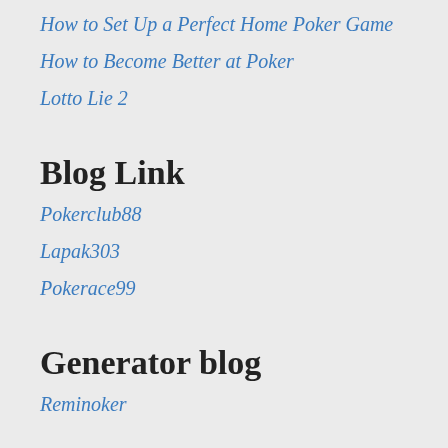How to Set Up a Perfect Home Poker Game
How to Become Better at Poker
Lotto Lie 2
Blog Link
Pokerclub88
Lapak303
Pokerace99
Generator blog
Reminoker